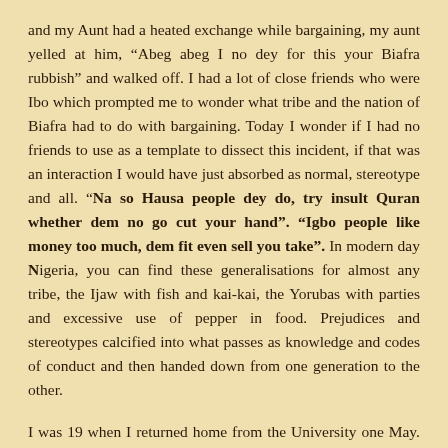and my Aunt had a heated exchange while bargaining, my aunt yelled at him, “Abeg abeg I no dey for this your Biafra rubbish” and walked off. I had a lot of close friends who were Ibo which prompted me to wonder what tribe and the nation of Biafra had to do with bargaining. Today I wonder if I had no friends to use as a template to dissect this incident, if that was an interaction I would have just absorbed as normal, stereotype and all. “Na so Hausa people dey do, try insult Quran whether dem no go cut your hand”. “Igbo people like money too much, dem fit even sell you take”. In modern day Nigeria, you can find these generalisations for almost any tribe, the Ijaw with fish and kai-kai, the Yorubas with parties and excessive use of pepper in food. Prejudices and stereotypes calcified into what passes as knowledge and codes of conduct and then handed down from one generation to the other.
I was 19 when I returned home from the University one May. I’d been down with malaria for a few days and even with the drugs